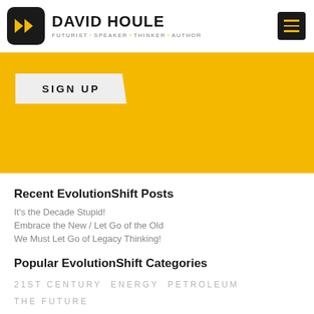DAVID HOULE — FUTURIST › SPEAKER › THINKER › AUTHOR
[Figure (logo): David Houle logo with black rounded square containing two yellow play-button arrows, and text DAVID HOULE with tagline FUTURIST SPEAKER THINKER AUTHOR]
[Figure (other): Yellow banner with SIGN UP button]
Recent EvolutionShift Posts
It's the Decade Stupid!
Embrace the New / Let Go of the Old
We Must Let Go of Legacy Thinking!
Popular EvolutionShift Categories
21ST CENTURY ENERGY PETROLEUM THE FUTURE